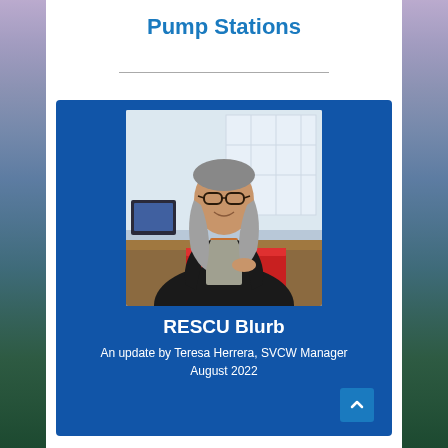Pump Stations
[Figure (photo): Blue card with photo of Teresa Herrera, a woman with long grey hair and glasses, sitting at a desk with a red folder, in a professional office setting. Below the photo: 'RESCU Blurb' and 'An update by Teresa Herrera, SVCW Manager August 2022']
RESCU Blurb
An update by Teresa Herrera, SVCW Manager August 2022